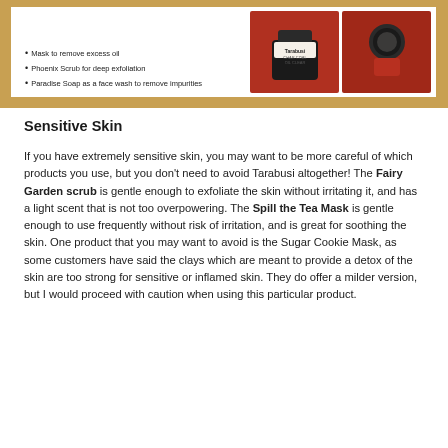[Figure (photo): Top portion of a document page showing a tan/wood-colored background with a white card inset. The card contains bullet points listing skincare products on the left and product photos on the right showing jars against a red furry background.]
Mask to remove excess oil
Phoenix Scrub for deep exfoliation
Paradise Soap as a face wash to remove impurities
Sensitive Skin
If you have extremely sensitive skin, you may want to be more careful of which products you use, but you don't need to avoid Tarabusi altogether! The Fairy Garden scrub is gentle enough to exfoliate the skin without irritating it, and has a light scent that is not too overpowering. The Spill the Tea Mask is gentle enough to use frequently without risk of irritation, and is great for soothing the skin. One product that you may want to avoid is the Sugar Cookie Mask, as some customers have said the clays which are meant to provide a detox of the skin are too strong for sensitive or inflamed skin. They do offer a milder version, but I would proceed with caution when using this particular product.